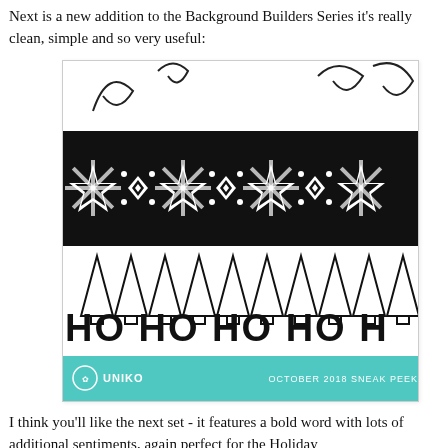Next is a new addition to the Background Builders Series it's really clean, simple and so very useful:
[Figure (illustration): Product image showing a stamp set preview: decorative snowflake/geometric border pattern in black, row of outline Christmas trees, 'HO HO HO HO H' text in dotted/marquee lettering, and a teal footer bar with UNIKO logo and 'OCTOBER 2018 SNEAK PEEK' text. Also shows partial curly flourish decorative elements at top.]
I think you'll like the next set - it features a bold word with lots of additional sentiments, again perfect for the Holiday